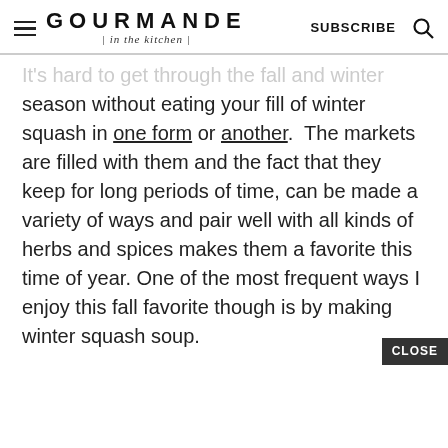GOURMANDE | in the kitchen | SUBSCRIBE
It's hard to get through the fall and winter season without eating your fill of winter squash in one form or another. The markets are filled with them and the fact that they keep for long periods of time, can be made a variety of ways and pair well with all kinds of herbs and spices makes them a favorite this time of year. One of the most frequent ways I enjoy this fall favorite though is by making winter squash soup.